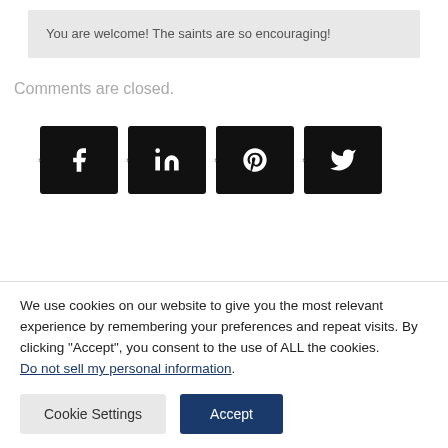You are welcome! The saints are so encouraging!
Comments are closed.
[Figure (other): Social media share buttons: Facebook, LinkedIn, Pinterest, Twitter]
We use cookies on our website to give you the most relevant experience by remembering your preferences and repeat visits. By clicking “Accept”, you consent to the use of ALL the cookies. Do not sell my personal information.
Cookie Settings  Accept